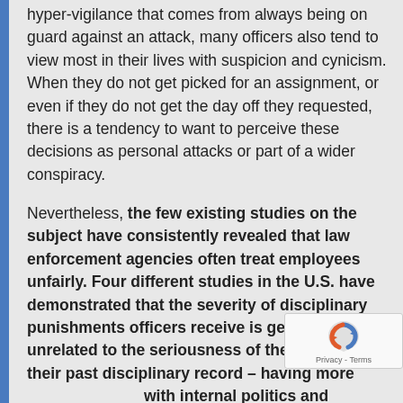hyper-vigilance that comes from always being on guard against an attack, many officers also tend to view most in their lives with suspicion and cynicism. When they do not get picked for an assignment, or even if they do not get the day off they requested, there is a tendency to want to perceive these decisions as personal attacks or part of a wider conspiracy.
Nevertheless, the few existing studies on the subject have consistently revealed that law enforcement agencies often treat employees unfairly. Four different studies in the U.S. have demonstrated that the severity of disciplinary punishments officers receive is generally unrelated to the seriousness of their offense or their past disciplinary record – having more to do with internal politics and personal friendships